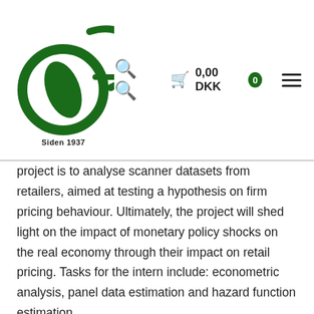Siden 1937 | 0,00 DKK
project is to analyse scanner datasets from retailers, aimed at testing a hypothesis on firm pricing behaviour. Ultimately, the project will shed light on the impact of monetary policy shocks on the real economy through their impact on retail pricing. Tasks for the intern include: econometric analysis, panel data estimation and hazard function estimation.
The successful applicant has the ability to contribute on the methodological issues of panel data estimation using microdata and should have good knowledge of STATA.
2. Computer Adoption and the Changing Labour Market – The job of the successful candidate will be to assist with the work on a project called "Computer Adoption and the